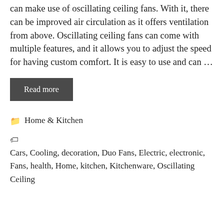can make use of oscillating ceiling fans. With it, there can be improved air circulation as it offers ventilation from above. Oscillating ceiling fans can come with multiple features, and it allows you to adjust the speed for having custom comfort. It is easy to use and can ...
Read more
Categories: Home & Kitchen
Tags: Cars, Cooling, decoration, Duo Fans, Electric, electronic, Fans, health, Home, kitchen, Kitchenware, Oscillating Ceiling